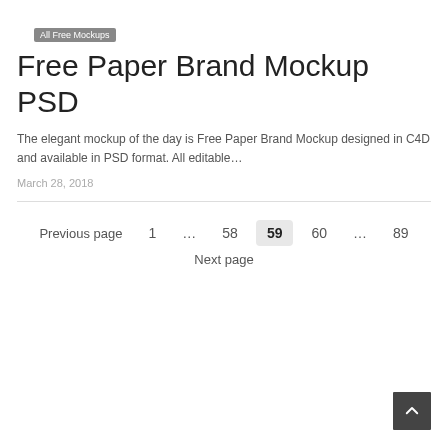All Free Mockups
Free Paper Brand Mockup PSD
The elegant mockup of the day is Free Paper Brand Mockup designed in C4D and available in PSD format. All editable…
March 28, 2018
Previous page  1  …  58  59  60  …  89
Next page